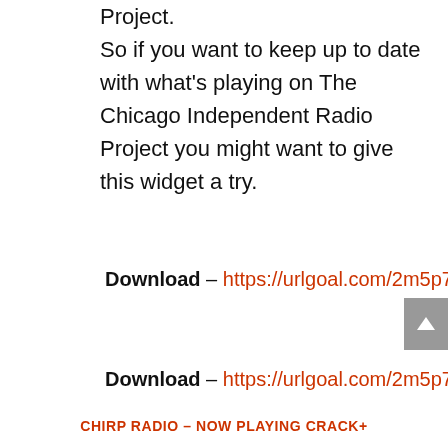Project.
So if you want to keep up to date with what's playing on The Chicago Independent Radio Project you might want to give this widget a try.
Download – https://urlgoal.com/2m5p7c
Download – https://urlgoal.com/2m5p7c
CHIRP RADIO – NOW PLAYING CRACK+